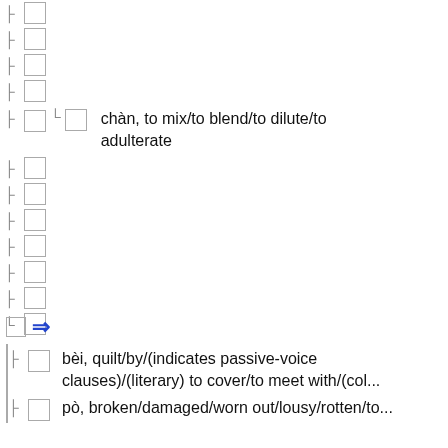□
□
□
□
□  □  chàn, to mix/to blend/to dilute/to adulterate
□
□
□
□
□
□
□ ⇒
□  bèi, quilt/by/(indicates passive-voice clauses)/(literary) to cover/to meet with/(col...
□  pò, broken/damaged/worn out/lousy/rotten/to...